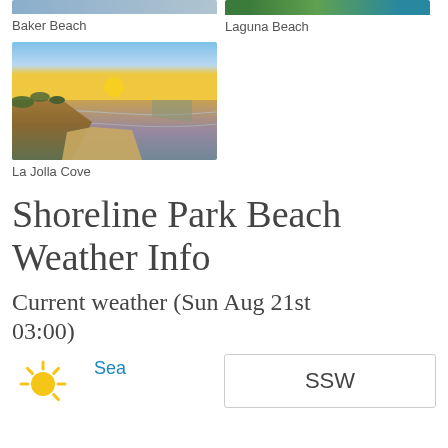[Figure (photo): Partial view of Baker Beach photo (cropped at top)]
Baker Beach
[Figure (photo): Partial view of Laguna Beach photo (cropped at top)]
Laguna Beach
[Figure (photo): La Jolla Cove sunset photo showing beach, cliffs, and ocean with golden sun reflecting on water]
La Jolla Cove
Shoreline Park Beach Weather Info
Current weather (Sun Aug 21st 03:00)
[Figure (illustration): Sun weather icon (yellow sun with rays)]
Sea
SSW